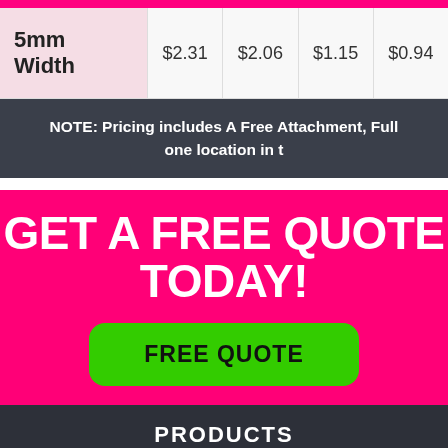| 5mm Width |  |  |  |  |
| --- | --- | --- | --- | --- |
| 5mm Width | $2.31 | $2.06 | $1.15 | $0.94 |
NOTE: Pricing includes A Free Attachment, Full one location in t
GET A FREE QUOTE TODAY!
FREE QUOTE
PRODUCTS